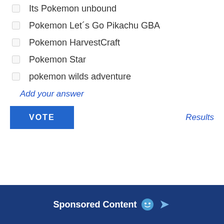Its Pokemon unbound
Pokemon Let´s Go Pikachu GBA
Pokemon HarvestCraft
Pokemon Star
pokemon wilds adventure
Add your answer
VOTE
Results
Sponsored Content